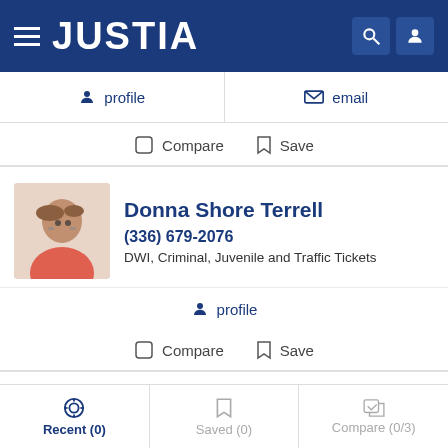JUSTIA
profile  |  email
Compare  Save
Donna Shore Terrell
(336) 679-2076
DWI, Criminal, Juvenile and Traffic Tickets
profile
Compare  Save
Jason Scott Smith
Recent (0)  Saved (0)  Compare (0/3)